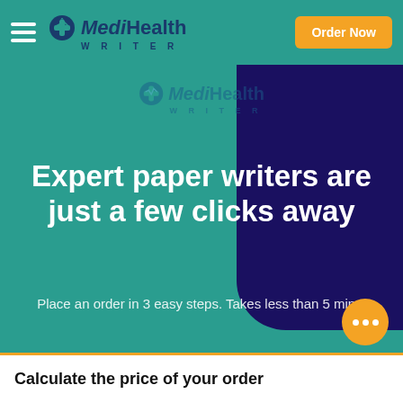MediHealth WRITER — Order Now
[Figure (logo): MediHealth Writer logo with medical cross icon, teal background navigation bar with hamburger menu and orange Order Now button]
Expert paper writers are just a few clicks away
Place an order in 3 easy steps. Takes less than 5 mins.
Calculate the price of your order